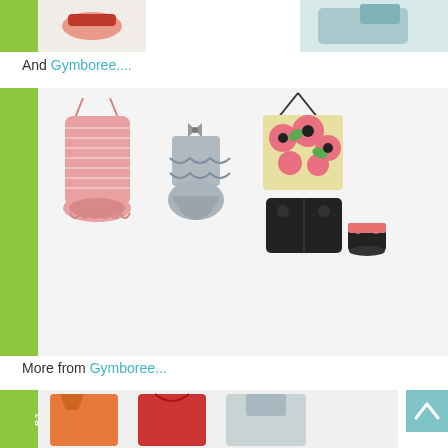[Figure (photo): Top partial strip showing children's shoes/accessories with green sidebar bar and two product images]
And Gymboree....
[Figure (photo): WHAT TO WEAR? section showing three girls' outfits from Gymboree: pink striped romper, grey ruffled romper, floral halter top with black shorts and sandals]
More from Gymboree...
[Figure (photo): Bottom partial strip showing more Gymboree girls' outfits including orange dress, red swimsuit, and other items, with teal scroll-to-top button]